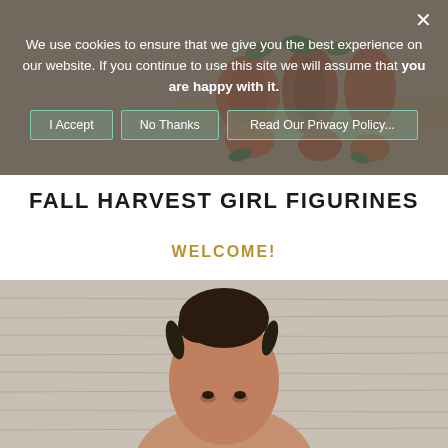[Figure (photo): Fall harvest girl figurines displayed on a wooden shelf, partially visible behind cookie consent overlay]
We use cookies to ensure that we give you the best experience on our website. If you continue to use this site we will assume that you are happy with it.
FALL HARVEST GIRL FIGURINES
WELCOME!
[Figure (photo): Woman with dark curly hair in a bun, photographed against a light wood plank background, head and upper body visible]